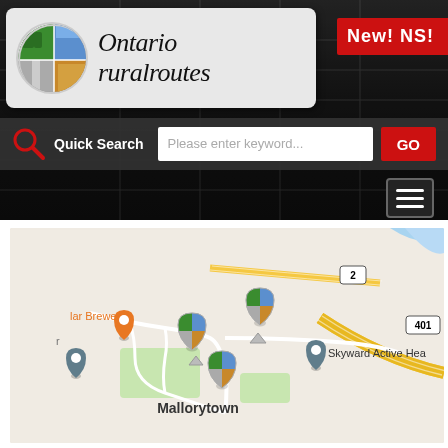[Figure (screenshot): Ontario Rural Routes website header with logo (circular four-season collage image), site name 'Ontario ruralroutes' in handwritten font, red 'New! NS!' badge, Quick Search bar with magnifying glass icon, text input placeholder 'Please enter keyword...', GO button, and hamburger menu icon, all on a dark wood/stairs background.]
[Figure (map): Google Maps screenshot showing Mallorytown area with yellow highway 401 and route 2 visible, map pins including custom Ontario ruralroutes pins, orange pin for 'lar Brewery', blue location pins, and label 'Skyward Active Hea' (truncated). Location: Mallorytown labeled on map.]